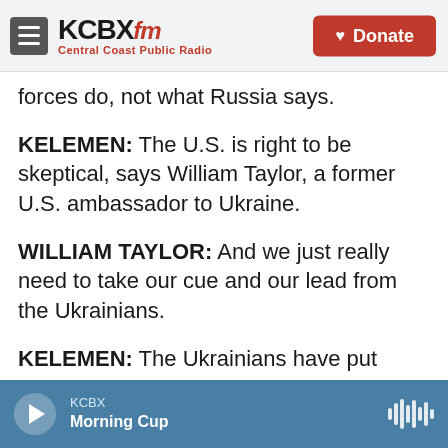KCBX FM — Central Coast Public Radio | Donate
forces do, not what Russia says.
KELEMEN: The U.S. is right to be skeptical, says William Taylor, a former U.S. ambassador to Ukraine.
WILLIAM TAYLOR: And we just really need to take our cue and our lead from the Ukrainians.
KELEMEN: The Ukrainians have put forward some ideas in talks with the Russians - one is a referendum on neutrality for Ukraine to give up its NATO ambitions, as Russia has long demanded. But for that, Ukraine wants security guarantees.
KCBX — Morning Cup